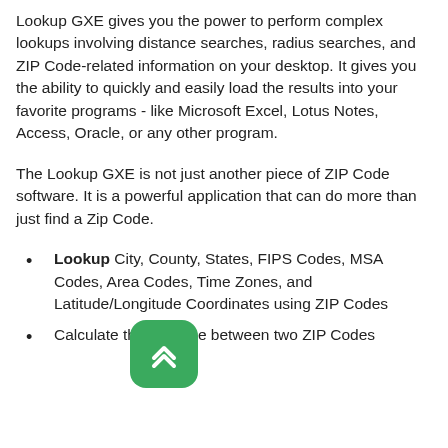Lookup GXE gives you the power to perform complex lookups involving distance searches, radius searches, and ZIP Code-related information on your desktop. It gives you the ability to quickly and easily load the results into your favorite programs - like Microsoft Excel, Lotus Notes, Access, Oracle, or any other program.
The Lookup GXE is not just another piece of ZIP Code software. It is a powerful application that can do more than just find a Zip Code.
Lookup City, County, States, FIPS Codes, MSA Codes, Area Codes, Time Zones, and Latitude/Longitude Coordinates using ZIP Codes
Calculate the distance between two ZIP Codes